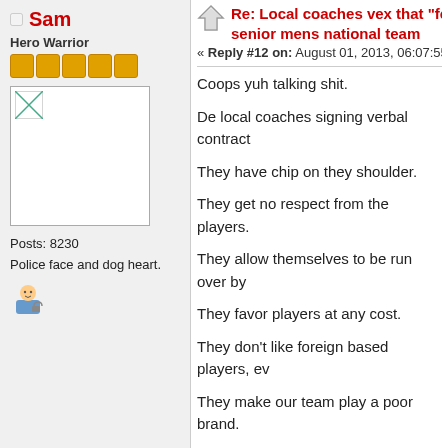Sam
Hero Warrior
[Figure (other): User avatar placeholder image]
Posts: 8230
Police face and dog heart.
[Figure (other): User profile icon]
Re: Local coaches vex that "fore... senior mens national team
« Reply #12 on: August 01, 2013, 06:07:55 PM
Coops yuh talking shit.
De local coaches signing verbal contract
They have chip on they shoulder.
They get no respect from the players.
They allow themselves to be run over by
They favor players at any cost.
They don't like foreign based players, ev
They make our team play a poor brand.
They are not tactical.
They cannot coach outside de region.
They look for quick fix.